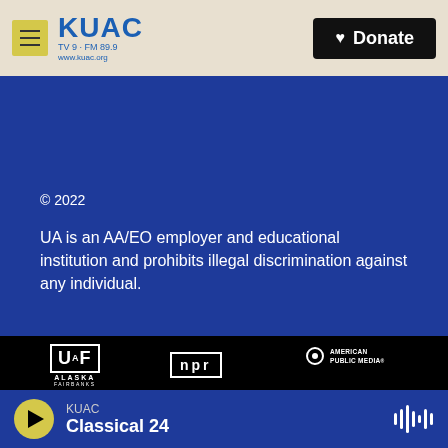KUAC TV 9 · FM 89.9 www.kuac.org | Donate
© 2022
UA is an AA/EO employer and educational institution and prohibits illegal discrimination against any individual.
[Figure (logo): UAF University of Alaska Fairbanks logo]
[Figure (logo): NPR logo]
[Figure (logo): American Public Media logo]
[Figure (logo): PRI logo]
[Figure (logo): BBC logo]
[Figure (logo): The Metropolitan Opera logo]
KUAC Classical 24